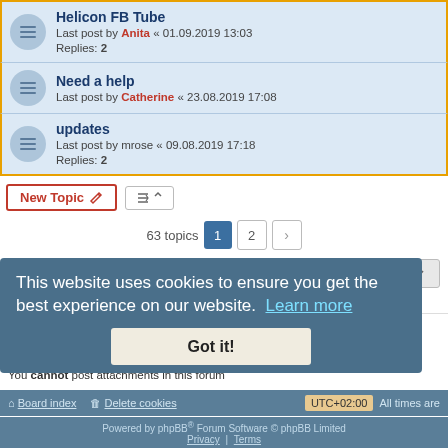Helicon FB Tube — Last post by Anita « 01.09.2019 13:03 — Replies: 2
Need a help — Last post by Catherine « 23.08.2019 17:08
updates — Last post by mrose « 09.08.2019 17:18 — Replies: 2
63 topics  1  2  >
Jump to
FORUM PERMISSIONS
You cannot post new topics in this forum
You cannot reply to topics in this forum
You cannot edit your posts in this forum
You cannot delete your posts in this forum
You cannot post attachments in this forum
This website uses cookies to ensure you get the best experience on our website. Learn more
Got it!
Board index   Delete cookies   All times are UTC+02:00
Powered by phpBB® Forum Software © phpBB Limited
Privacy | Terms